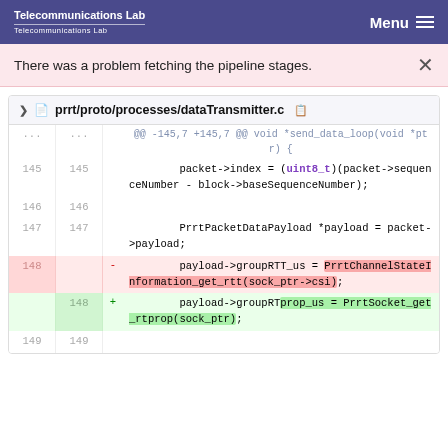Telecommunications Lab  Menu
There was a problem fetching the pipeline stages.
[Figure (screenshot): Code diff view showing file prrt/proto/processes/dataTransmitter.c with lines 145-149, including a deletion of payload->groupRTT_us assignment and insertion of payload->groupRTprop_us assignment]
prrt/proto/processes/dataTransmitter.c